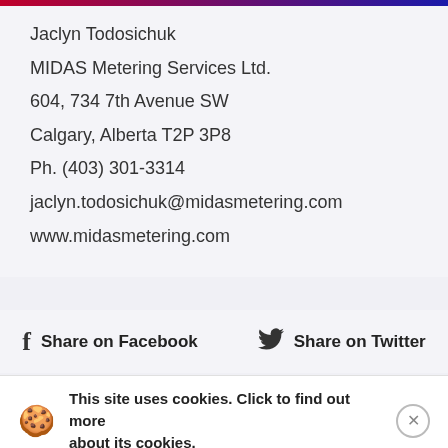Jaclyn Todosichuk
MIDAS Metering Services Ltd.
604, 734 7th Avenue SW
Calgary, Alberta T2P 3P8
Ph. (403) 301-3314
jaclyn.todosichuk@midasmetering.com
www.midasmetering.com
Share on Facebook   Share on Twitter
Previous post
This site uses cookies. Click to find out more about its cookies.
Next post
Why Demand Response Should